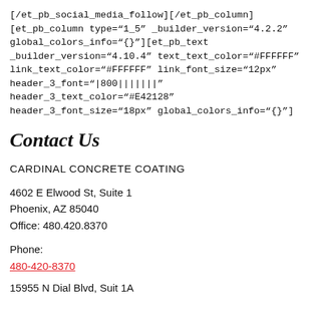[/et_pb_social_media_follow][/et_pb_column]
[et_pb_column type="1_5" _builder_version="4.2.2"
global_colors_info="{}"][et_pb_text
_builder_version="4.10.4" text_text_color="#FFFFFF"
link_text_color="#FFFFFF" link_font_size="12px"
header_3_font="|800||||||" header_3_text_color="#E42128"
header_3_font_size="18px" global_colors_info="{}"]
Contact Us
CARDINAL CONCRETE COATING
4602 E Elwood St, Suite 1
Phoenix, AZ 85040
Office: 480.420.8370
Phone:
480-420-8370
15955 N Dial Blvd, Suit 1A